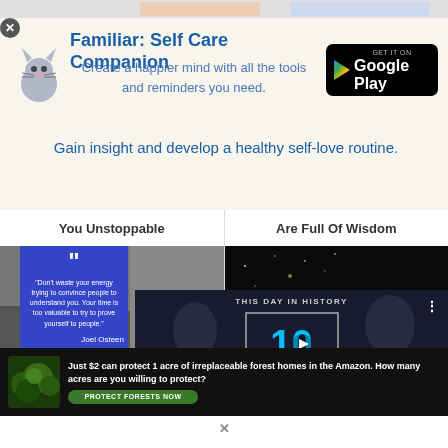[Figure (screenshot): Top partially visible navigation bar with app icons]
[Figure (infographic): Familiar: Self Care Companion app advertisement banner with cat illustration and Google Play badge. Title: 'Familiar: Self Care Companion'. Subtitle: 'Create a happier mind with all the tools and reminders you need.' Tagline: 'Gain insight and develop a healthy self-love routine.']
You Unstoppable
Are Full Of Wisdom
[Figure (photo): Quote card with blue background showing Joel Osteen quote: "Don't waste your energy trying to convince people to understand you. Your time is too valuable to try to prove yourself to people." - Joel Osteen]
[Figure (photo): Dark starry night sky image thumbnail]
175+ Confiden...
[Figure (screenshot): This Day In History video overlay showing date: 10 AUGUST with play button, video controls including mute button, progress bar, and fullscreen icon. Historical figures visible in background.]
[Figure (photo): Forest conservation advertisement: 'Just $2 can protect 1 acre of irreplaceable forest homes in the Amazon. How many acres are you willing to protect?' with PROTECT FORESTS NOW button]